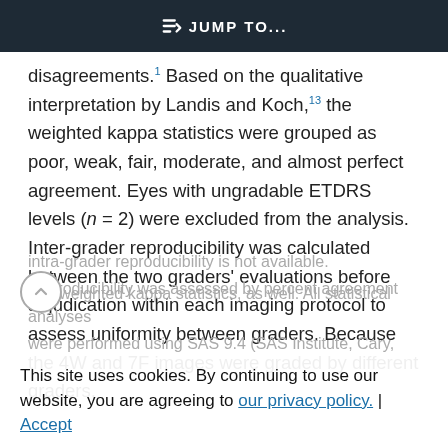JUMP TO...
disagreements.1 Based on the qualitative interpretation by Landis and Koch,13 the weighted kappa statistics were grouped as poor, weak, fair, moderate, and almost perfect agreement. Eyes with ungradable ETDRS levels (n = 2) were excluded from the analysis. Inter-grader reproducibility was calculated between the two graders' evaluations before adjudication within each imaging protocol to assess uniformity between graders. Because the 4W and 7F images were graded by different graders,
intra-grader reproducibility is not available. Reproducibility was assessed by percent agreement and weighted kappa statistics, as well. All statistical analyses were performed using SAS 9.4 (SAS Institute, Cary,
This site uses cookies. By continuing to use our website, you are agreeing to our privacy policy. Accept